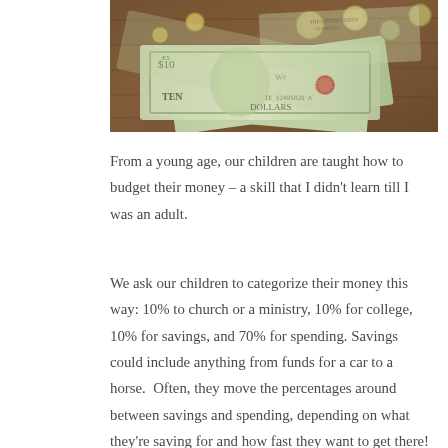[Figure (photo): Photo of US dollar bills (ten dollar bills visible with Alexander Hamilton portrait) and coins scattered on a wooden table surface]
From a young age, our children are taught how to budget their money – a skill that I didn't learn till I was an adult.
We ask our children to categorize their money this way: 10% to church or a ministry, 10% for college, 10% for savings, and 70% for spending. Savings could include anything from funds for a car to a horse.  Often, they move the percentages around between savings and spending, depending on what they're saving for and how fast they want to get there!